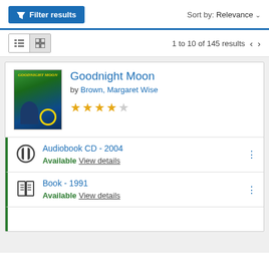Filter results
Sort by: Relevance
1 to 10 of 145 results
Goodnight Moon
by Brown, Margaret Wise
★★★★☆
Audiobook CD - 2004
Available View details
Book - 1991
Available View details